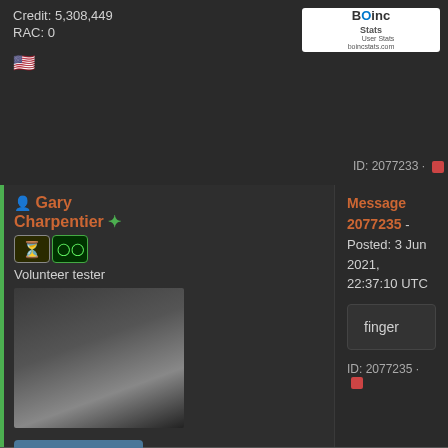Credit: 5,308,449
RAC: 0
[Figure (logo): BOINC Stats logo with 'User Stats boincstats.com' text]
ID: 2077233 ·
Gary Charpentier
Volunteer tester
[Figure (photo): Avatar photo of a squirrel or animal on what appears to be a skateboard or dark surface]
Message 2077235 - Posted: 3 Jun 2021, 22:37:10 UTC
finger
ID: 2077235 ·
Send message
Joined: 25 Dec 00
Posts: 29340
Credit: 53,134,872
RAC: 32